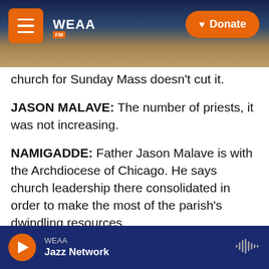[Figure (screenshot): WEAA radio website header with city skyline background, hamburger menu button (orange), WEAA logo in white, and orange Donate button]
church for Sunday Mass doesn't cut it.
JASON MALAVE: The number of priests, it was not increasing.
NAMIGADDE: Father Jason Malave is with the Archdiocese of Chicago. He says church leadership there consolidated in order to make the most of the parish's dwindling resources.
MALAVE: The number of the faithful at Mass on Sunday was not increasing. People's generosity to the parishes was not increasing. The only thing that was increasing was the amount of money that it
WEAA Jazz Network